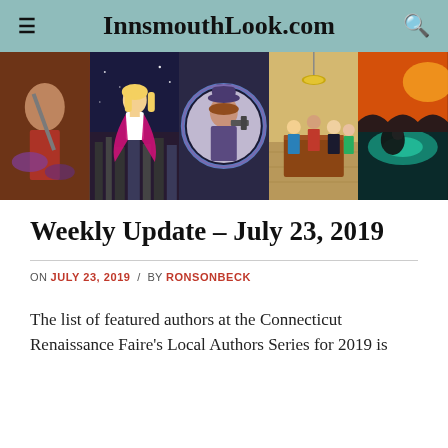InnsmouthLook.com
[Figure (illustration): A horizontal banner strip of five genre book cover / illustration panels: (1) fantasy warrior with tentacles, (2) blonde superheroine flying over city, (3) woman in purple hat holding a gun (circular portrait), (4) tabletop RPG scene with characters gathered around a table, (5) alien landscape with teal glow and creature.]
Weekly Update – July 23, 2019
ON JULY 23, 2019 / BY RONSONBECK
The list of featured authors at the Connecticut Renaissance Faire's Local Authors Series for 2019 is